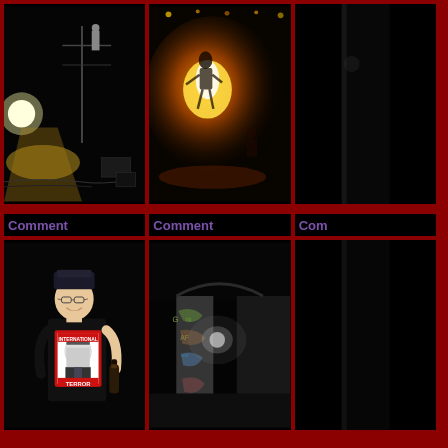[Figure (photo): Dark nighttime photo of a stage or outdoor area with bright spotlight/light on left side, equipment and scaffolding visible]
[Figure (photo): Concert photo with bright orange/yellow light, performer silhouette on stage]
[Figure (photo): Partially visible dark photo, right edge only]
Comment
Comment
Com
[Figure (photo): Man smiling, wearing black cap and black t-shirt with George W Bush INTERNATIONAL TERRORIST print, holding a bottle, dark background]
[Figure (photo): Dark tunnel or alley with graffiti on walls, dim light in background]
[Figure (photo): Partially visible dark photo, right edge only]